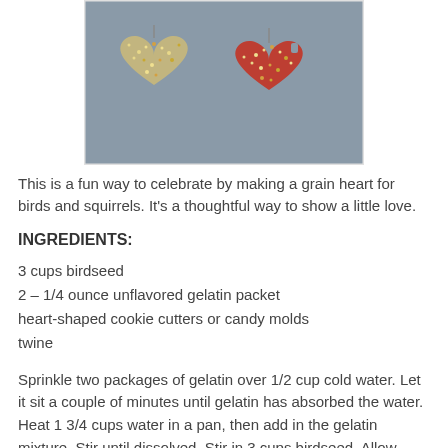[Figure (photo): Two heart-shaped birdseed ornaments, one grey/natural and one red, covered in mixed birdseed, on a grey surface.]
This is a fun way to celebrate by making a grain heart for birds and squirrels. It's a thoughtful way to show a little love.
INGREDIENTS:
3 cups birdseed
2 – 1/4 ounce unflavored gelatin packet
heart-shaped cookie cutters or candy molds
twine
Sprinkle two packages of gelatin over 1/2 cup cold water. Let it sit a couple of minutes until gelatin has absorbed the water. Heat 1 3/4 cups water in a pan, then add in the gelatin mixture. Stir until dissolved. Stir in 3 cups birdseed. Allow mixture to cool until gelatin is thick and coats all the birdseed.
Work twine into the heart and hang it for the birds to enjoy!